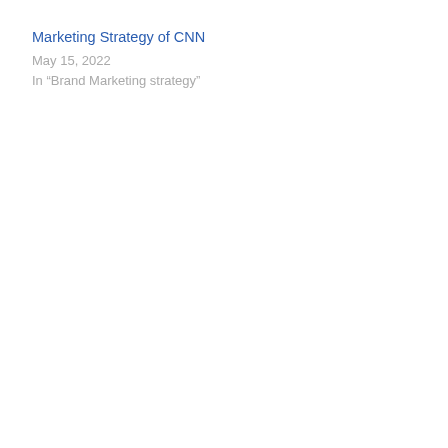Marketing Strategy of CNN
May 15, 2022
In “Brand Marketing strategy”